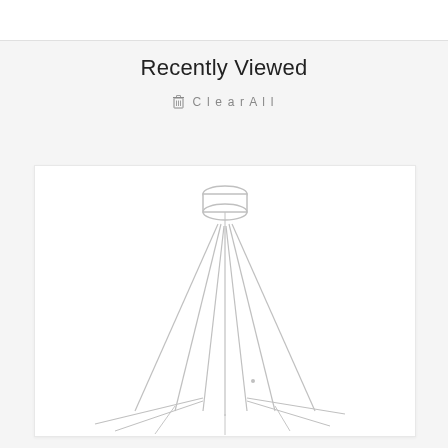Recently Viewed
Clear All
[Figure (photo): A modern minimalist pendant light fixture with thin white metal arms radiating downward from a cylindrical ceiling mount, forming a geometric star-like or asterisk shape at the bottom. The light is photographed against a white background.]